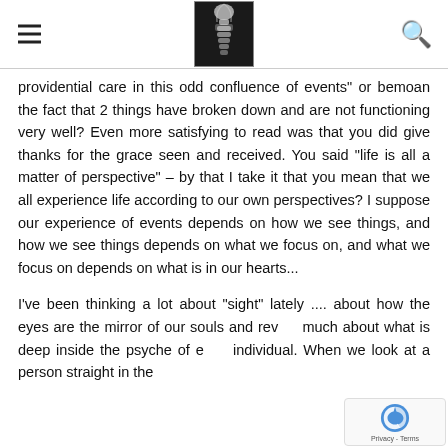[navigation header with hamburger menu, X-ray spine logo image, and search icon]
providential care in this odd confluence of events” or bemoan the fact that 2 things have broken down and are not functioning very well? Even more satisfying to read was that you did give thanks for the grace seen and received. You said “life is all a matter of perspective” – by that I take it that you mean that we all experience life according to our own perspectives? I suppose our experience of events depends on how we see things, and how we see things depends on what we focus on, and what we focus on depends on what is in our hearts...
I’ve been thinking a lot about “sight” lately .... about how the eyes are the mirror of our souls and rev… much about what is deep inside the psyche of e… individual. When we look at a person straight in the